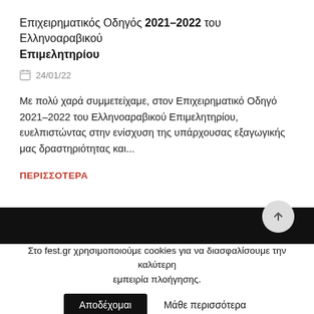Επιχειρηματικός Οδηγός 2021–2022 του Ελληνοαραβικού Επιμελητηρίου
24/01/22
Με πολύ χαρά συμμετείχαμε, στον Επιχειρηματικό Οδηγό 2021–2022 του Ελληνοαραβικού Επιμελητηρίου, ευελπιστώντας στην ενίσχυση της υπάρχουσας εξαγωγικής μας δραστηριότητας και...
ΠΕΡΙΣΣΟΤΕΡΑ
Στο fest.gr χρησιμοποιούμε cookies για να διασφαλίσουμε την καλύτερη εμπειρία πλοήγησης.
Αποδέχομαι
Μάθε περισσότερα